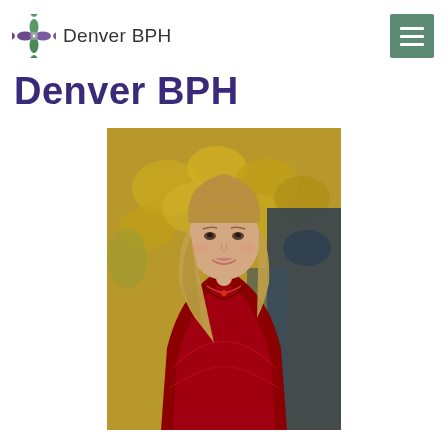Denver BPH
Denver BPH
[Figure (photo): Professional headshot of a woman with blonde hair wearing a red lace dress, smiling, with a background of yellow/golden autumn leaves. She is middle-aged and wears a red necklace.]